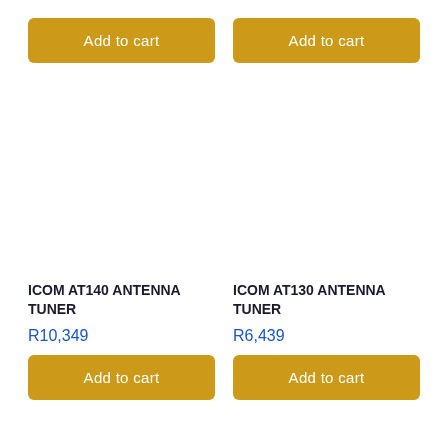Add to cart
Add to cart
ICOM AT140 ANTENNA TUNER
ICOM AT130 ANTENNA TUNER
R10,349
R6,439
Add to cart
Add to cart